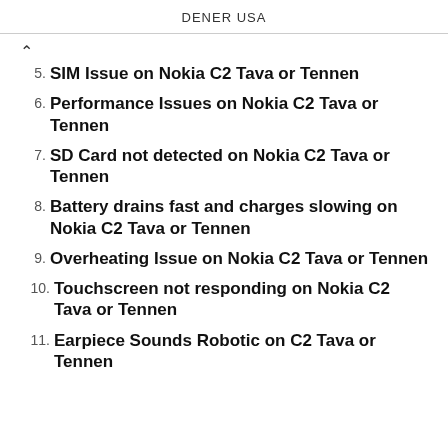DENER USA
5. SIM Issue on Nokia C2 Tava or Tennen
6. Performance Issues on Nokia C2 Tava or Tennen
7. SD Card not detected on Nokia C2 Tava or Tennen
8. Battery drains fast and charges slowing on Nokia C2 Tava or Tennen
9. Overheating Issue on Nokia C2 Tava or Tennen
10. Touchscreen not responding on Nokia C2 Tava or Tennen
11. Earpiece Sounds Robotic on C2 Tava or Tennen